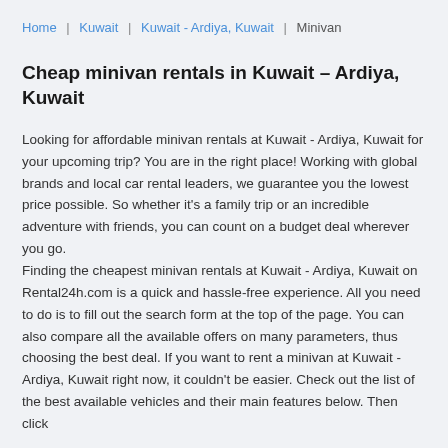Home | Kuwait | Kuwait - Ardiya, Kuwait | Minivan
Cheap minivan rentals in Kuwait – Ardiya, Kuwait
Looking for affordable minivan rentals at Kuwait - Ardiya, Kuwait for your upcoming trip? You are in the right place! Working with global brands and local car rental leaders, we guarantee you the lowest price possible. So whether it's a family trip or an incredible adventure with friends, you can count on a budget deal wherever you go. Finding the cheapest minivan rentals at Kuwait - Ardiya, Kuwait on Rental24h.com is a quick and hassle-free experience. All you need to do is to fill out the search form at the top of the page. You can also compare all the available offers on many parameters, thus choosing the best deal. If you want to rent a minivan at Kuwait - Ardiya, Kuwait right now, it couldn't be easier. Check out the list of the best available vehicles and their main features below. Then click